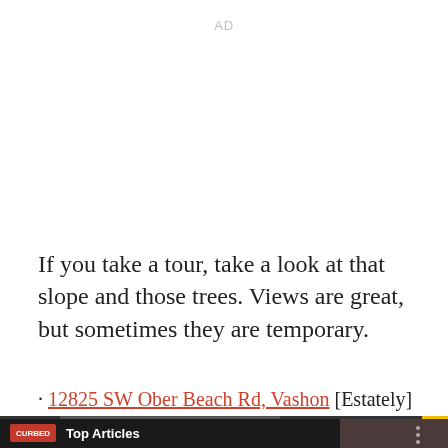AD
If you take a tour, take a look at that slope and those trees. Views are great, but sometimes they are temporary.
· 12825 SW Ober Beach Rd, Vashon [Estately]
[Figure (screenshot): Video panel with Curbed logo and 'Top Articles' heading, showing a person in the background, dark themed overlay]